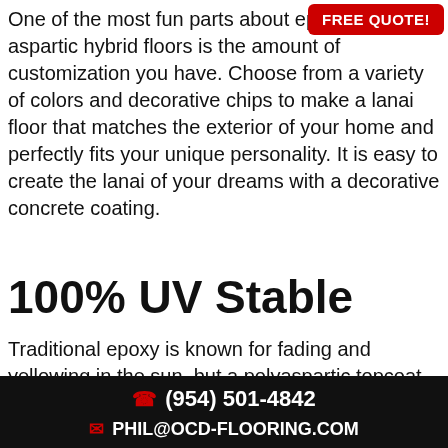One of the most fun parts about epoxy/polyaspartic hybrid floors is the amount of customization you have. Choose from a variety of colors and decorative chips to make a lanai floor that matches the exterior of your home and perfectly fits your unique personality. It is easy to create the lanai of your dreams with a decorative concrete coating.
[Figure (other): FREE QUOTE! button in red with white text, positioned top-right corner]
100% UV Stable
Traditional epoxy is known for fading and yellowing in the sun, but a polyaspartic topcoat provides a solution to this
(954) 501-4842   PHIL@OCD-FLOORING.COM